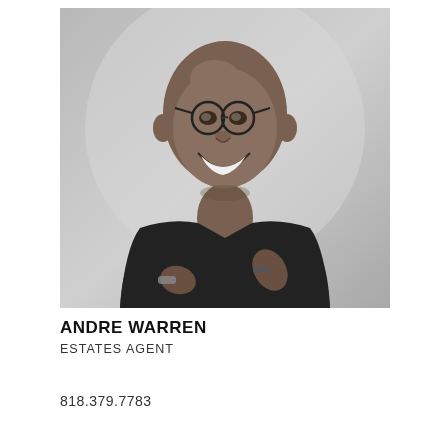[Figure (photo): Black and white professional headshot photograph of Andre Warren, a bald man wearing round glasses and a dark crew-neck sweater over a white collared shirt, smiling broadly with arms crossed, wearing a watch and bracelet on his wrists. The background is a light grey gradient.]
ANDRE WARREN
ESTATES AGENT
818.379.7783